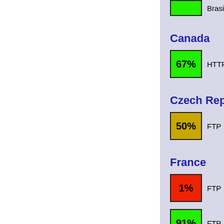Canada
67% HTTP GULUS Mirror (rate) Download Download
Czech Republic
50% FTP Masarykovy univerzity Mirror (rate) Download Download
France
1% FTP Distrib-Coffee France (rate) Download Download
91% FTP FREE.fr (rate) Download Download
90% FTP Mandriva Linux (rate) Download Download
Germany